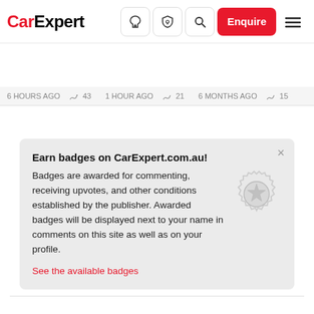CarExpert — navigation bar with logo, icons, and Enquire button
6 HOURS AGO   43   1 HOUR AGO   21   6 MONTHS AGO   15
Earn badges on CarExpert.com.au!
Badges are awarded for commenting, receiving upvotes, and other conditions established by the publisher. Awarded badges will be displayed next to your name in comments on this site as well as on your profile.
See the available badges
Comments   Community   Privacy Policy
Login
Favorite   Sort by Best